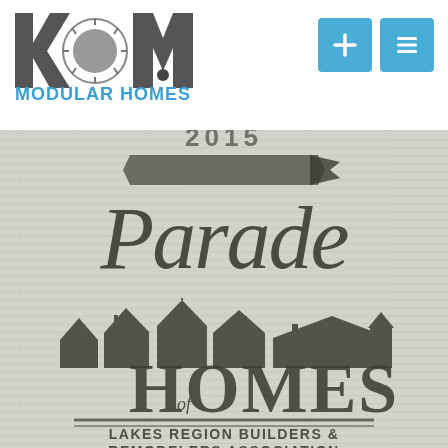[Figure (logo): KTM Modular Homes logo with stylized letter marks and text]
[Figure (illustration): Two blue square navigation buttons with plus and list icons]
[Figure (photo): Parade of Homes logo on wood-grain textured background, featuring script 'Parade', row of house silhouettes, 'of HOMES' text, decorative double lines, and 'LAKES REGION BUILDERS & REMODELERS ASSOCIATION' text]